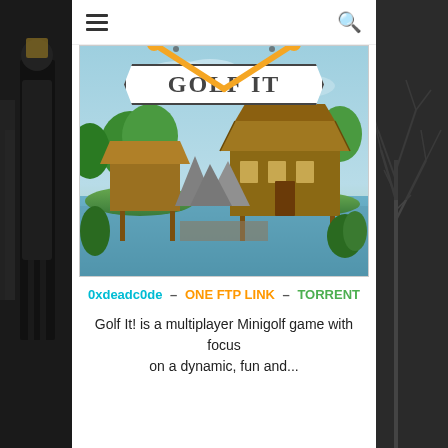[Figure (screenshot): Dark movie poster on left side panel showing a figure in dark attire against city backdrop]
[Figure (screenshot): Dark winter tree scene on right side panel]
[Figure (screenshot): Golf It! game cover art showing a 3D minigolf course with wooden lodge buildings, rocky terrain, water and lush greenery. Banner reads GOLF IT with crossed golf clubs graphic in orange.]
0xdeadc0de – ONE FTP LINK – TORRENT
Golf It! is a multiplayer Minigolf game with focus on a dynamic, fun and...